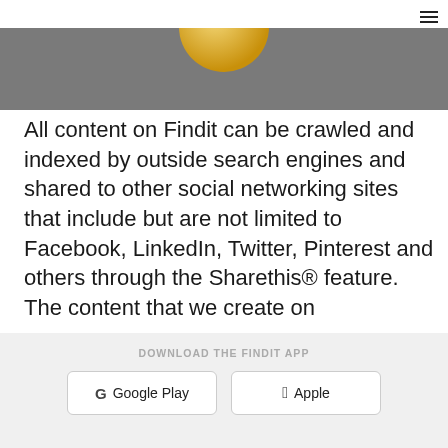≡
[Figure (photo): Gray banner image with a partial gold circle/logo visible at the top center]
All content on Findit can be crawled and indexed by outside search engines and shared to other social networking sites that include but are not limited to Facebook, LinkedIn, Twitter, Pinterest and others through the Sharethis® feature. The content that we create on
DOWNLOAD THE FINDIT APP
G Google Play
🍎 Apple